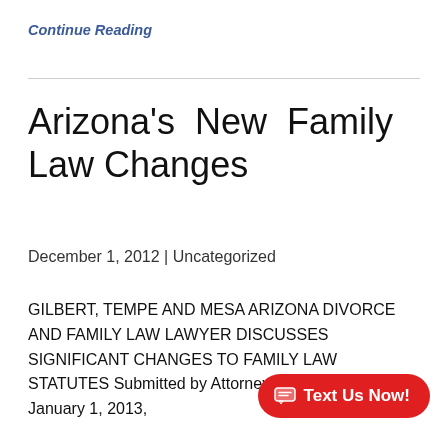Continue Reading
Arizona's New Family Law Changes
December 1, 2012 | Uncategorized
GILBERT, TEMPE AND MESA ARIZONA DIVORCE AND FAMILY LAW LAWYER DISCUSSES SIGNIFICANT CHANGES TO FAMILY LAW STATUTES Submitted by Attorney Douglas C. Gardner January 1, 2013,
[Figure (other): Red rounded button overlay with chat icon and text 'Text Us Now!']